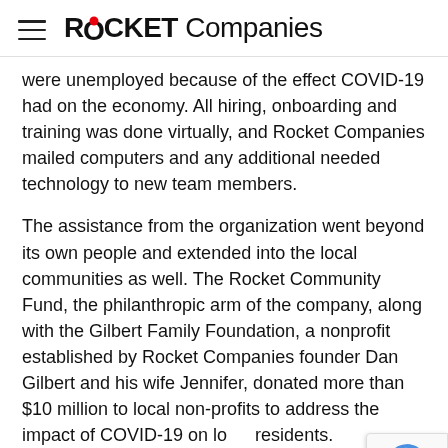ROCKET Companies
were unemployed because of the effect COVID-19 had on the economy. All hiring, onboarding and training was done virtually, and Rocket Companies mailed computers and any additional needed technology to new team members.
The assistance from the organization went beyond its own people and extended into the local communities as well. The Rocket Community Fund, the philanthropic arm of the company, along with the Gilbert Family Foundation, a nonprofit established by Rocket Companies founder Dan Gilbert and his wife Jennifer, donated more than $10 million to local non-profits to address the impact of COVID-19 on local residents.
"We consider ourselves a 'for-more-than-profit'